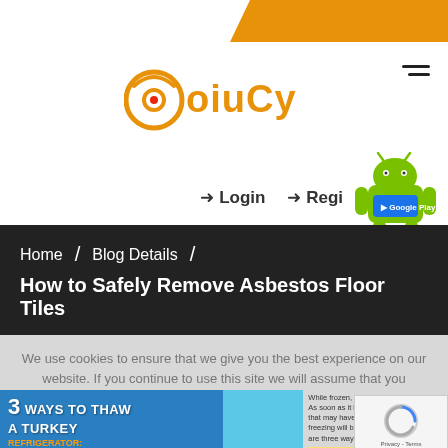[Figure (logo): Oiucy website logo with orange circular icon and orange text 'oiuCy']
➜ Login   ➜ Regi
[Figure (illustration): Green Android robot mascot with Google Play badge]
Home  /  Blog Details  /
How to Safely Remove Asbestos Floor Tiles
We use cookies to ensure that we give you the best experience on our website. If you continue to use this site we will assume that you are happy w...
[Figure (infographic): Infographic strip: '3 Ways to Thaw a Turkey' with Refrigerator and Cold water sections visible, plus text about frozen turkey safety]
[Figure (illustration): reCAPTCHA widget with blue spinning icon and Privacy - Terms text]